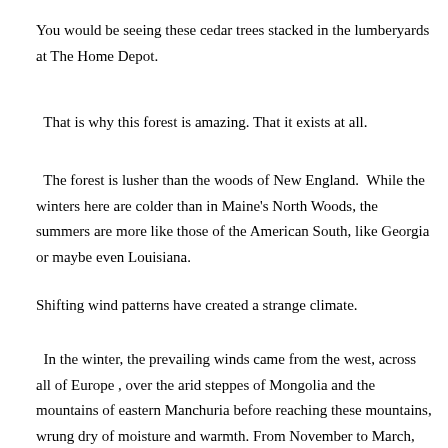You would be seeing these cedar trees stacked in the lumberyards at The Home Depot.
That is why this forest is amazing. That it exists at all.
The forest is lusher than the woods of New England.  While the winters here are colder than in Maine's North Woods, the summers are more like those of the American South, like Georgia or maybe even Louisiana.
Shifting wind patterns have created a strange climate.
In the winter, the prevailing winds came from the west, across all of Europe , over the arid steppes of Mongolia and the mountains of eastern Manchuria before reaching these mountains, wrung dry of moisture and warmth. From November to March, temperatures stay below freezing and can reach 30 to 40 degrees below zero.